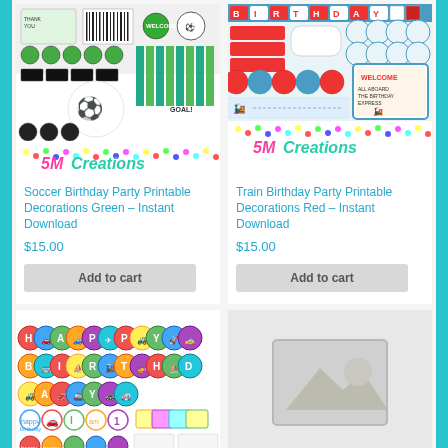[Figure (screenshot): Soccer Birthday Party Printable Decorations Green product image with 5M Creations branding]
Soccer Birthday Party Printable Decorations Green – Instant Download
$15.00
Add to cart
[Figure (screenshot): Train Birthday Party Printable Decorations Red product image with 5M Creations branding]
Train Birthday Party Printable Decorations Red – Instant Download
$15.00
Add to cart
[Figure (screenshot): Transportation Birthday Party Printable Decorations product image showing Happy Birthday circles with vehicle icons]
[Figure (screenshot): Placeholder image (no product image available)]